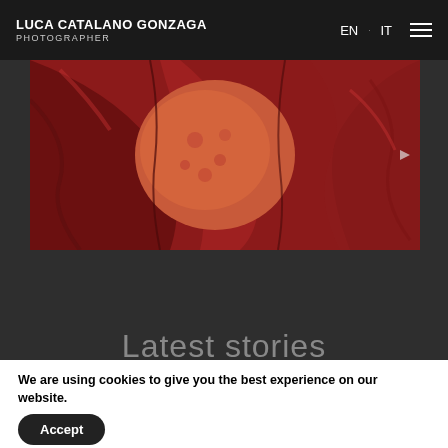LUCA CATALANO GONZAGA PHOTOGRAPHER | EN · IT
[Figure (photo): Close-up photograph of red/crimson fabric or clothing with draped folds, featuring a patterned textile piece in the center-left area, in warm red tones.]
Latest stories
We are using cookies to give you the best experience on our website.
You can find out more about which cookies we are using or switch them off in settings.
Accept